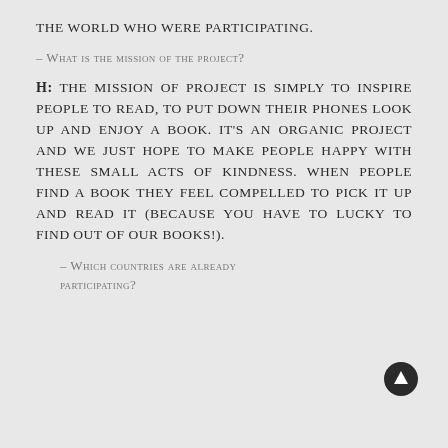the world who were participating.
– What is the mission of the project?
H: The mission of project is simply to inspire people to read, to put down their phones look up and enjoy a book. It's an organic project and we just hope to make people happy with these small acts of kindness. When people find a book they feel compelled to pick it up and read it (because you have to lucky to find out of our books!).
– Which countries are already participating?